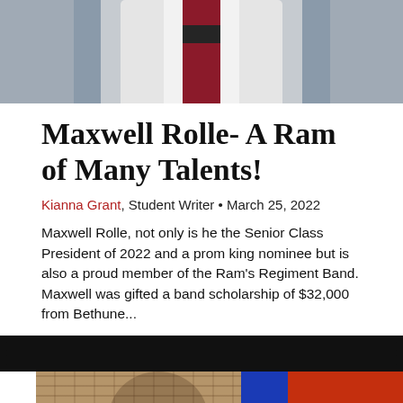[Figure (photo): Top portion of a person wearing a white graduation or choir robe with a dark red sash and dark band accent, photographed against a gray background. Only the torso/robe is visible.]
Maxwell Rolle- A Ram of Many Talents!
Kianna Grant, Student Writer • March 25, 2022
Maxwell Rolle, not only is he the Senior Class President of 2022 and a prom king nominee but is also a proud member of the Ram's Regiment Band. Maxwell was gifted a band scholarship of $32,000 from Bethune...
[Figure (photo): Left photo: A young woman in scrubs/denim jacket standing against a brick wall. Right photo: A young man photographed against a blue and orange/red background.]